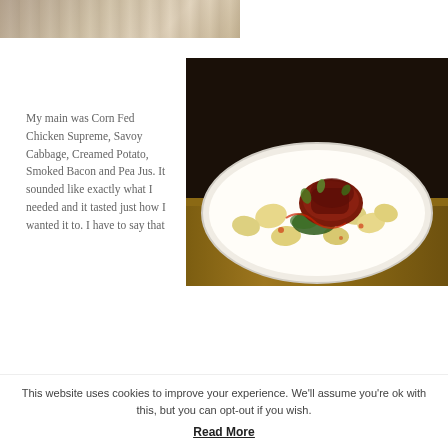[Figure (photo): Top partial photo showing a wooden table surface or blurred background, warm tones]
My main was Corn Fed Chicken Supreme, Savoy Cabbage, Creamed Potato, Smoked Bacon and Pea Jus. It sounded like exactly what I needed and it tasted just how I wanted it to. I have to say that
[Figure (photo): Food photo: a white plate on a wooden surface with a portion of meat with red sauce, gnocchi or potato pieces, greens, and herb garnish]
This website uses cookies to improve your experience. We'll assume you're ok with this, but you can opt-out if you wish.
Read More